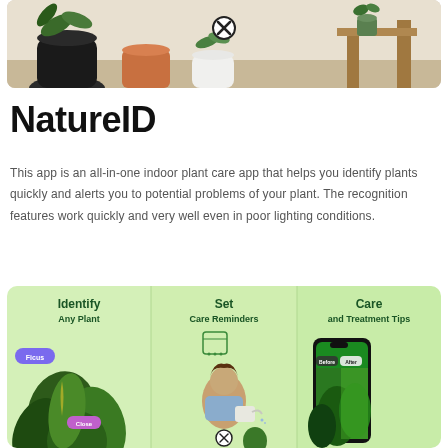[Figure (photo): Top banner photo showing indoor plants and home decor with a close button overlay]
NatureID
This app is an all-in-one indoor plant care app that helps you identify plants quickly and alerts you to potential problems of your plant. The recognition features work quickly and very well even in poor lighting conditions.
[Figure (infographic): Three-panel infographic showing app features: 'Identify Any Plant', 'Set Care Reminders', 'Care and Treatment Tips' with plant and person imagery]